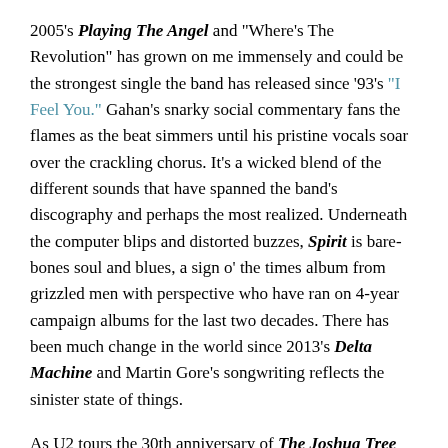2005's Playing The Angel and "Where's The Revolution" has grown on me immensely and could be the strongest single the band has released since '93's "I Feel You." Gahan's snarky social commentary fans the flames as the beat simmers until his pristine vocals soar over the crackling chorus. It's a wicked blend of the different sounds that have spanned the band's discography and perhaps the most realized. Underneath the computer blips and distorted buzzes, Spirit is bare-bones soul and blues, a sign o' the times album from grizzled men with perspective who have ran on 4-year campaign albums for the last two decades. There has been much change in the world since 2013's Delta Machine and Martin Gore's songwriting reflects the sinister state of things.
As U2 tours the 30th anniversary of The Joshua Tree and there is a reflection on how timely the wide-eyed Americana of that record is today, DM's Music For The Masses feels more of the moment. Maybe it's those seedy B&W music videos, Gore's coy androgyny or the depraved sexiness of "Strange Love," but DM's breakout record begs to be discovered by today's kids of the teenagers and twenty-